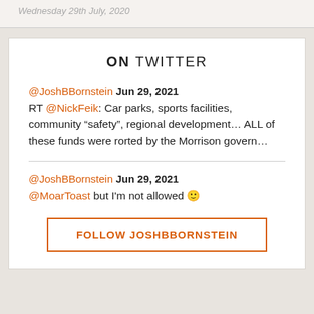Wednesday 29th July, 2020
ON TWITTER
@JoshBBornstein Jun 29, 2021
RT @NickFeik: Car parks, sports facilities, community “safety”, regional development… ALL of these funds were rorted by the Morrison govern…
@JoshBBornstein Jun 29, 2021
@MoarToast but I'm not allowed 🙂
FOLLOW JOSHBBORNSTEIN